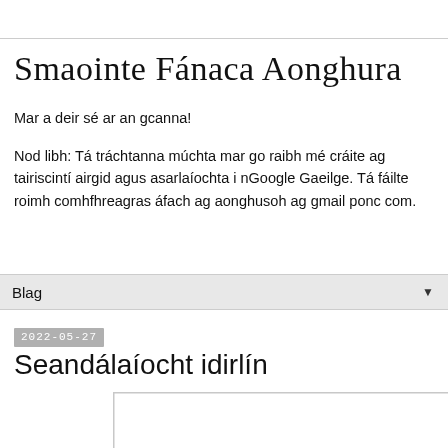Smaointe Fánaca Aonghura
Mar a deir sé ar an gcanna!
Nod libh: Tá tráchtanna múchta mar go raibh mé cráite ag tairiscintí airgid agus asarlaíochta i nGoogle Gaeilge. Tá fáilte roimh comhfhreagras áfach ag aonghusoh ag gmail ponc com.
Blag
2022-05-27
Seandálaíocht idirlín
[Figure (photo): A bordered rectangular image box, appears blank/white with a gray border]